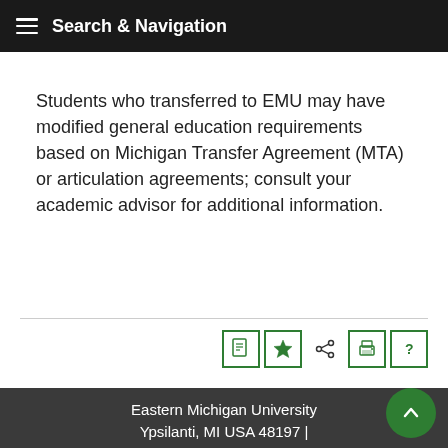Search & Navigation
Students who transferred to EMU may have modified general education requirements based on Michigan Transfer Agreement (MTA) or articulation agreements; consult your academic advisor for additional information.
[Figure (infographic): Row of 5 green-bordered icon buttons: document, star, share, print, help/question mark]
[Figure (infographic): Social media icon circles in a footer bar: Facebook, Twitter, YouTube, Instagram, LinkedIn, Snapchat, and one more icon]
Eastern Michigan University Ypsilanti, MI USA 48197 |